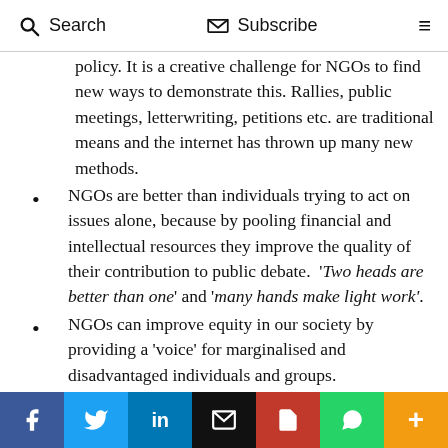Search  Subscribe
policy. It is a creative challenge for NGOs to find new ways to demonstrate this. Rallies, public meetings, letterwriting, petitions etc. are traditional means and the internet has thrown up many new methods.
NGOs are better than individuals trying to act on issues alone, because by pooling financial and intellectual resources they improve the quality of their contribution to public debate. 'Two heads are better than one' and 'many hands make light work'.
NGOs can improve equity in our society by providing a 'voice' for marginalised and disadvantaged individuals and groups.
Regional and country NGOs are important for providing information to make policy